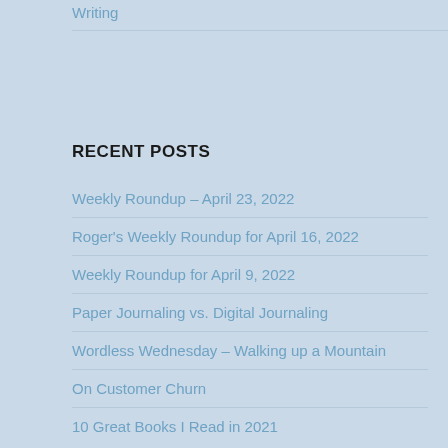Writing
RECENT POSTS
Weekly Roundup – April 23, 2022
Roger's Weekly Roundup for April 16, 2022
Weekly Roundup for April 9, 2022
Paper Journaling vs. Digital Journaling
Wordless Wednesday – Walking up a Mountain
On Customer Churn
10 Great Books I Read in 2021